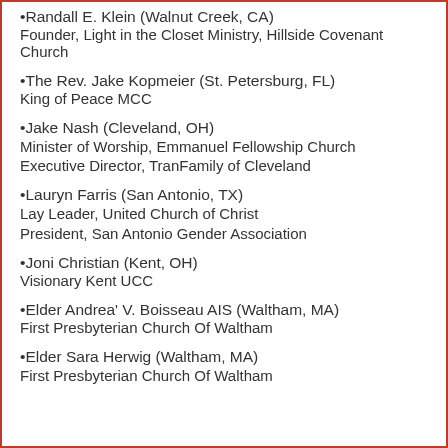Randall E. Klein (Walnut Creek, CA)
Founder, Light in the Closet Ministry, Hillside Covenant Church
The Rev. Jake Kopmeier (St. Petersburg, FL)
King of Peace MCC
Jake Nash (Cleveland, OH)
Minister of Worship, Emmanuel Fellowship Church
Executive Director, TranFamily of Cleveland
Lauryn Farris (San Antonio, TX)
Lay Leader, United Church of Christ
President, San Antonio Gender Association
Joni Christian (Kent, OH)
Visionary Kent UCC
Elder Andrea' V. Boisseau AIS (Waltham, MA)
First Presbyterian Church Of Waltham
Elder Sara Herwig (Waltham, MA)
First Presbyterian Church Of Waltham